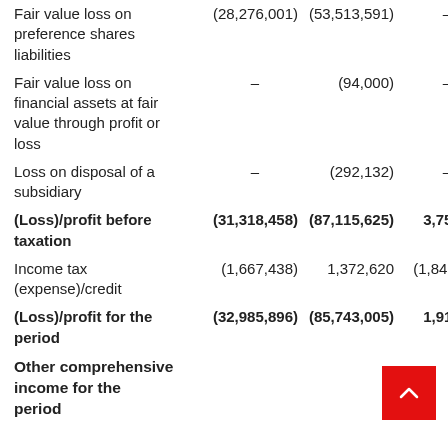|  | Col1 | Col2 | Col3 |
| --- | --- | --- | --- |
| Fair value loss on preference shares liabilities | (28,276,001) | (53,513,591) | – |
| Fair value loss on financial assets at fair value through profit or loss | – | (94,000) | – |
| Loss on disposal of a subsidiary | – | (292,132) | – |
| (Loss)/profit before taxation | (31,318,458) | (87,115,625) | 3,755,262 |
| Income tax (expense)/credit | (1,667,438) | 1,372,620 | (1,840,688) |
| (Loss)/profit for the period | (32,985,896) | (85,743,005) | 1,914,574 |
Other comprehensive income for the period